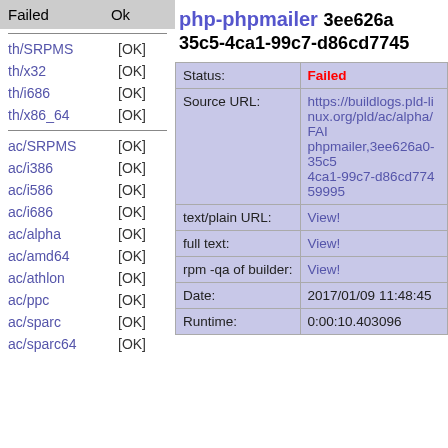| Failed | Ok |
| --- | --- |
| th/SRPMS | [OK] |
| th/x32 | [OK] |
| th/i686 | [OK] |
| th/x86_64 | [OK] |
| ac/SRPMS | [OK] |
| ac/i386 | [OK] |
| ac/i586 | [OK] |
| ac/i686 | [OK] |
| ac/alpha | [OK] |
| ac/amd64 | [OK] |
| ac/athlon | [OK] |
| ac/ppc | [OK] |
| ac/sparc | [OK] |
| ac/sparc64 | [OK] |
php-phpmailer 3ee626a35c5-4ca1-99c7-d86cd77459...
|  |  |
| --- | --- |
| Status: | Failed |
| Source URL: | https://buildlogs.pld-linux.org/pld/ac/alpha/FAIL/phpmailer,3ee626a0-35c5-4ca1-99c7-d86cd77459995... |
| text/plain URL: | View! |
| full text: | View! |
| rpm -qa of builder: | View! |
| Date: | 2017/01/09 11:48:45 |
| Runtime: | 0:00:10.403096 |